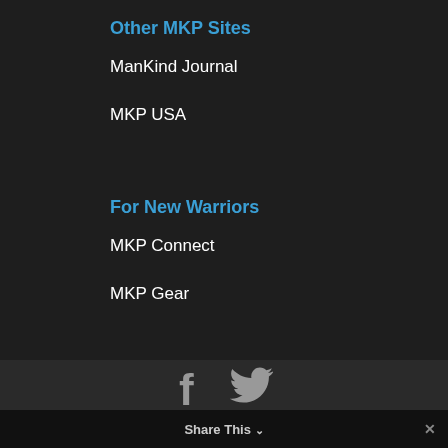Other MKP Sites
ManKind Journal
MKP USA
For New Warriors
MKP Connect
MKP Gear
[Figure (other): Social media icons: Facebook and Twitter]
© 2017 ManKind Project. All rights reserved.
Share This ∨  ✕